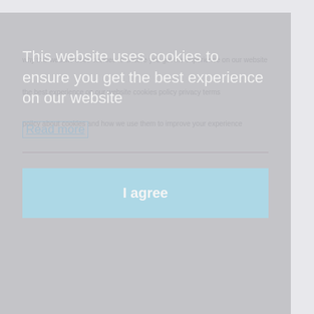This website uses cookies to ensure you get the best experience on our website
Read more
I agree